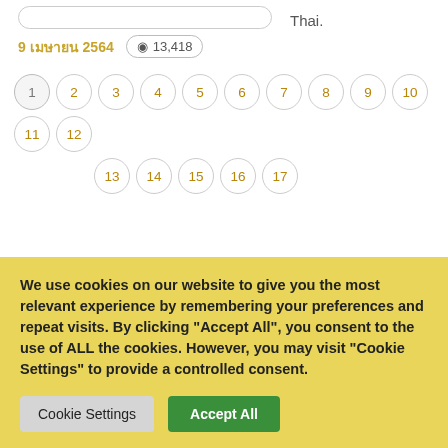Thai.
9 เมษายน 2564  👁 13,418
1 2 3 4 5 6 7 8 9 10 11 12 13 14 15 16 17
We use cookies on our website to give you the most relevant experience by remembering your preferences and repeat visits. By clicking "Accept All", you consent to the use of ALL the cookies. However, you may visit "Cookie Settings" to provide a controlled consent.
Cookie Settings
Accept All